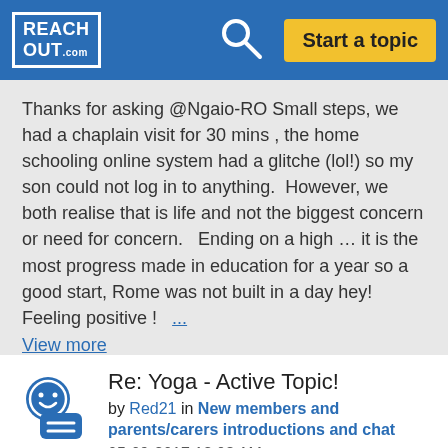REACHOUT.com | Start a topic
Thanks for asking @Ngaio-RO Small steps, we had a chaplain visit for 30 mins , the home schooling online system had a glitche (lol!) so my son could not log in to anything. However, we both realise that is life and not the biggest concern or need for concern. Ending on a high … it is the most progress made in education for a year so a good start, Rome was not built in a day hey! Feeling positive ! ... View more
Re: Yoga - Active Topic!
by Red21 in New members and parents/carers introductions and chat
05-09-2017 12:03 AM